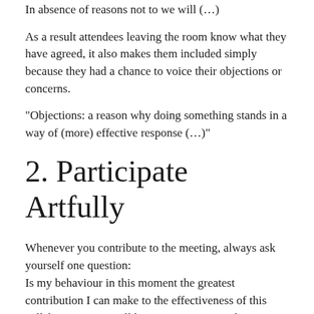In absence of reasons not to we will (…)
As a result attendees leaving the room know what they have agreed, it also makes them included simply because they had a chance to voice their objections or concerns.
“Objections: a reason why doing something stands in a way of (more) effective response (…)”
2. Participate Artfully
Whenever you contribute to the meeting, always ask yourself one question:
Is my behaviour in this moment the greatest contribution I can make to the effectiveness of this collaborations? We all have comments, we disagree or agree with proposed subject. While is important to voice your opinion, make sure that you do it in a constructive manner. What is the most productive for the group at this very moment? Will